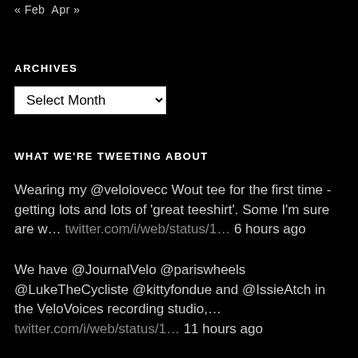« Feb  Apr »
ARCHIVES
Select Month
WHAT WE'RE TWEETING ABOUT
Wearing my @velolovecc Wout tee for the first time - getting lots and lots of 'great teeshirt'. Some I'm sure are w… twitter.com/i/web/status/1… 6 hours ago
We have @JournalVelo @pariswheels @LukeTheCycliste @kittyfondue and @IssieAtch in the VeloVoices recording studio,… twitter.com/i/web/status/1… 11 hours ago